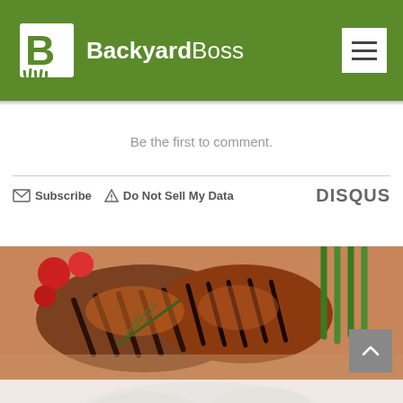BackyardBoss
Be the first to comment.
Subscribe  Do Not Sell My Data  DISQUS
[Figure (photo): Grilled chicken or meat with grill marks, garnished with rosemary, cherry tomatoes, and asparagus on a wooden board]
[Figure (photo): Partial view of a second food photo below, appears lighter/faded]